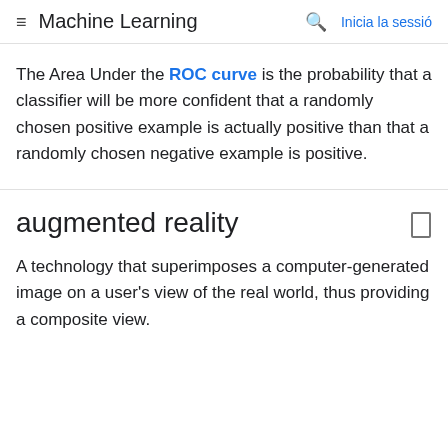Machine Learning  Inicia la sessió
The Area Under the ROC curve is the probability that a classifier will be more confident that a randomly chosen positive example is actually positive than that a randomly chosen negative example is positive.
augmented reality
A technology that superimposes a computer-generated image on a user's view of the real world, thus providing a composite view.